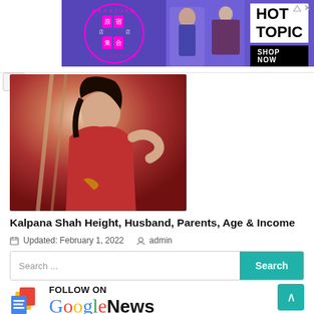[Figure (photo): Harajuku Collective advertisement banner with Hot Topic branding and Shop Now button]
[Figure (photo): Photo of Kalpana Shah in red dress posing]
Kalpana Shah Height, Husband, Parents, Age & Income
Updated: February 1, 2022   admin
[Figure (screenshot): Search bar with teal Search button]
[Figure (logo): Google News follow section with FOLLOW ON Google News text and logo]
[Figure (other): Scroll to top button (teal arrow up)]